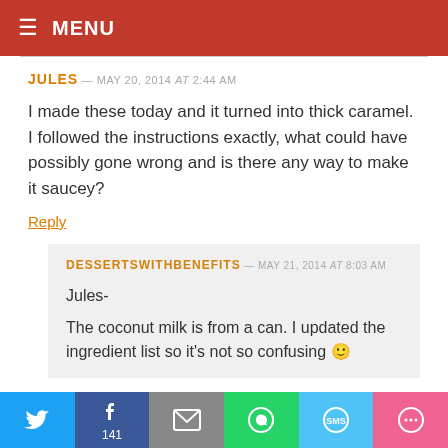MENU
JULES — MAY 20, 2014 at 2:44 AM
I made these today and it turned into thick caramel. I followed the instructions exactly, what could have possibly gone wrong and is there any way to make it saucey?
Reply
DESSERTSWITHBENEFITS — MAY 21, 2014 at 8:03 AM
Jules-
The coconut milk is from a can. I updated the ingredient list so it's not so confusing 🙂